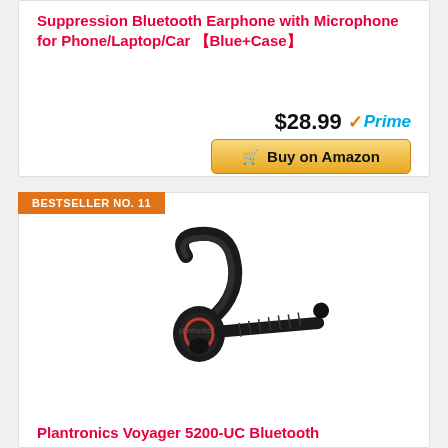Suppression Bluetooth Earphone with Microphone for Phone/Laptop/Car 【Blue+Case】
$28.99 ✓Prime
Buy on Amazon
BESTSELLER NO. 11
[Figure (photo): Plantronics Voyager 5200-UC Bluetooth headset shown in black, with ear hook and boom microphone arm extending to the right.]
Plantronics Voyager 5200-UC Bluetooth